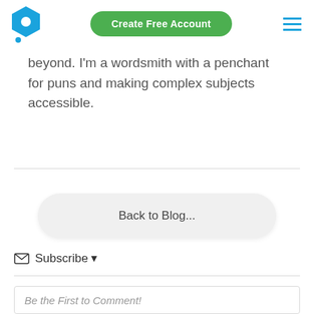[Figure (logo): Blue hexagon shape with circle cutout and small blue dot below — company logo]
Create Free Account
[Figure (other): Hamburger menu icon with three horizontal blue lines]
beyond. I'm a wordsmith with a penchant for puns and making complex subjects accessible.
Back to Blog...
Subscribe
Be the First to Comment!